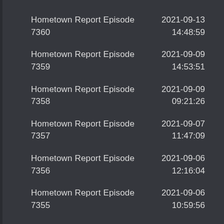Hometown Report Episode 7360 | 2021-09-13 14:48:59
Hometown Report Episode 7359 | 2021-09-09 14:53:51
Hometown Report Episode 7358 | 2021-09-09 09:21:26
Hometown Report Episode 7357 | 2021-09-07 11:47:09
Hometown Report Episode 7356 | 2021-09-06 12:16:04
Hometown Report Episode 7355 | 2021-09-06 10:59:56
Hometown Report Episode 7354 | 2021-09-06